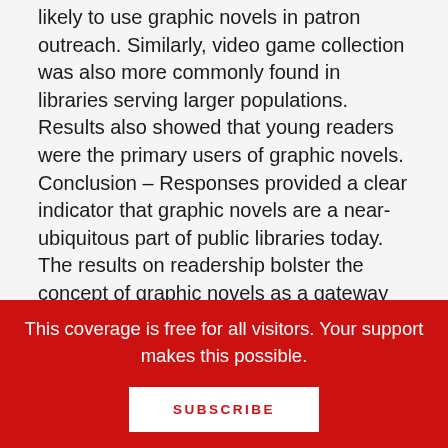likely to use graphic novels in patron outreach. Similarly, video game collection was also more commonly found in libraries serving larger populations. Results also showed that young readers were the primary users of graphic novels.
Conclusion – Responses provided a clear indicator that graphic novels are a near-ubiquitous part of public libraries today. The results on readership bolster the concept of graphic novels as a gateway to adult literacy. The results also highlight differences between larger and smaller libraries in terms of resource allocations towards new media. The patron demographics associated with
This coverage is free for all visitors. Your support makes this possible.
SUBSCRIBE